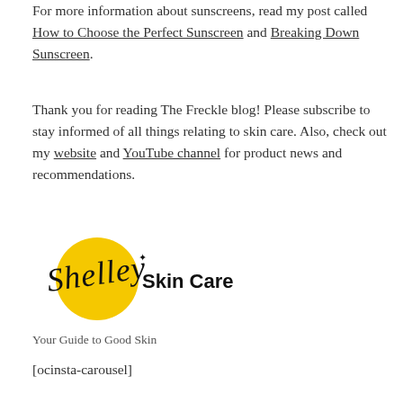For more information about sunscreens, read my post called How to Choose the Perfect Sunscreen and Breaking Down Sunscreen.
Thank you for reading The Freckle blog! Please subscribe to stay informed of all things relating to skin care. Also, check out my website and YouTube channel for product news and recommendations.
[Figure (logo): Shelley Skin Care logo with yellow circle and cursive script text plus bold 'Skin Care' text]
Your Guide to Good Skin
[ocinsta-carousel]